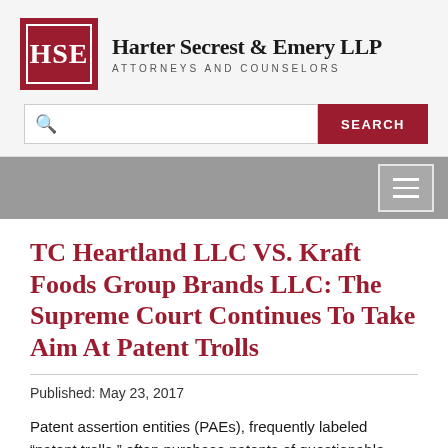[Figure (logo): Harter Secrest & Emery LLP law firm logo with HSE initials in red box and firm name]
TC Heartland LLC VS. Kraft Foods Group Brands LLC: The Supreme Court Continues To Take Aim At Patent Trolls
Published: May 23, 2017
Patent assertion entities (PAEs), frequently labeled “patent trolls,” often purchase patents of questionable validity and